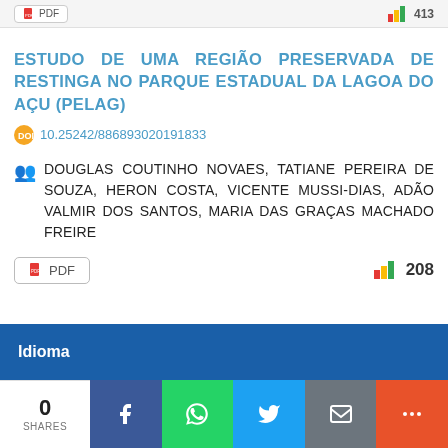[Figure (screenshot): PDF button and view count (413) in top bar]
ESTUDO DE UMA REGIÃO PRESERVADA DE RESTINGA NO PARQUE ESTADUAL DA LAGOA DO AÇU (PELAG)
10.25242/886893020191833
DOUGLAS COUTINHO NOVAES, TATIANE PEREIRA DE SOUZA, HERON COSTA, VICENTE MUSSI-DIAS, ADÃO VALMIR DOS SANTOS, MARIA DAS GRAÇAS MACHADO FREIRE
[Figure (screenshot): PDF button and views count 208]
Idioma
[Figure (screenshot): Social share bar: 0 SHARES, Facebook, WhatsApp, Twitter, Email, More buttons]